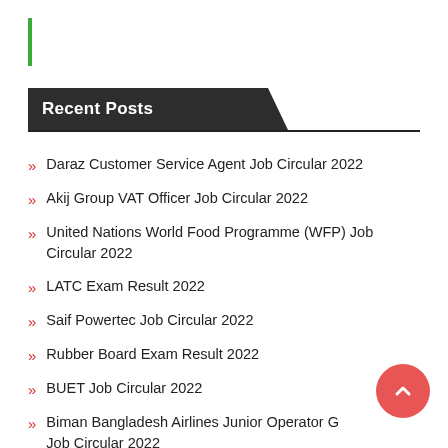Recent Posts
Daraz Customer Service Agent Job Circular 2022
Akij Group VAT Officer Job Circular 2022
United Nations World Food Programme (WFP) Job Circular 2022
LATC Exam Result 2022
Saif Powertec Job Circular 2022
Rubber Board Exam Result 2022
BUET Job Circular 2022
Biman Bangladesh Airlines Junior Operator G Job Circular 2022
Essential Drugs Company Limited Job Circular 2022